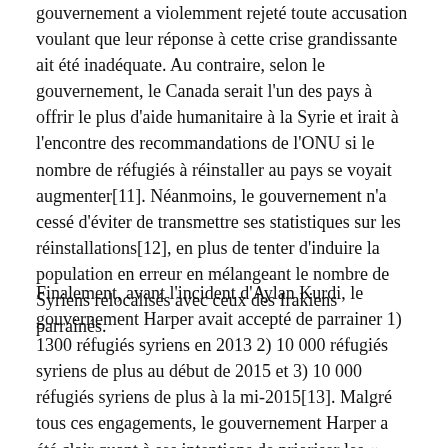gouvernement a violemment rejeté toute accusation voulant que leur réponse à cette crise grandissante ait été inadéquate. Au contraire, selon le gouvernement, le Canada serait l'un des pays à offrir le plus d'aide humanitaire à la Syrie et irait à l'encontre des recommandations de l'ONU si le nombre de réfugiés à réinstaller au pays se voyait augmenter[11]. Néanmoins, le gouvernement n'a cessé d'éviter de transmettre ses statistiques sur les réinstallations[12], en plus de tenter d'induire la population en erreur en mélangeant le nombre de Syriens relocalisés avec ceux des Irakiens parrainés.
Finalement, avant l'incident d'Aylan Kurdi, le gouvernement Harper avait accepté de parrainer 1) 1300 réfugiés syriens en 2013 2) 10 000 réfugiés syriens de plus au début de 2015 et 3) 10 000 réfugiés syriens de plus à la mi-2015[13]. Malgré tous ces engagements, le gouvernement Harper a été clair quant à ses intentions de prioriser les « minorités religieuses » en